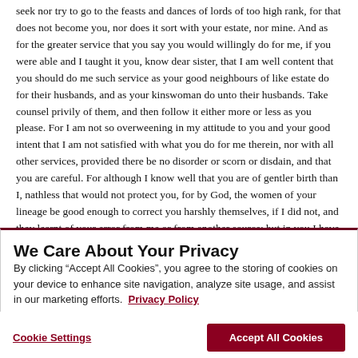seek nor try to go to the feasts and dances of lords of too high rank, for that does not become you, nor does it sort with your estate, nor mine. And as for the greater service that you say you would willingly do for me, if you were able and I taught it you, know dear sister, that I am well content that you should do me such service as your good neighbours of like estate do for their husbands, and as your kinswoman do unto their husbands. Take counsel privily of them, and then follow it either more or less as you please. For I am not so overweening in my attitude to you and your good intent that I am not satisfied with what you do for me therein, nor with all other services, provided there be no disorder or scorn or disdain, and that you are careful. For although I know well that you are of gentler birth than I, nathless that would not protect you, for by God, the women of your lineage be good enough to correct you harshly themselves, if I did not, and they learnt of your error from me or from another source; but in you I have no fear, I have confidence in your good intent.
We Care About Your Privacy
By clicking “Accept All Cookies”, you agree to the storing of cookies on your device to enhance site navigation, analyze site usage, and assist in our marketing efforts.  Privacy Policy